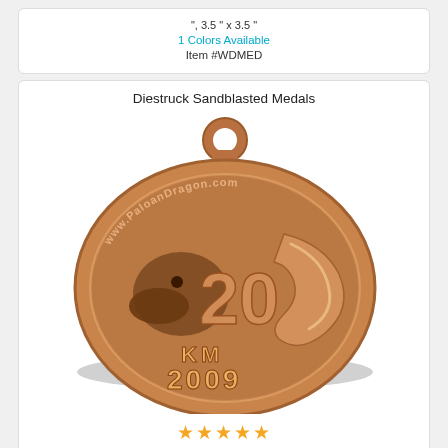", 3.5 " x 3.5 "
1 Colors Available
Item #WDMED
Diestruck Sandblasted Medals
[Figure (photo): Bronze diestruck sandblasted medal showing a dragon design with '20 KM 2009' text and 'www.PaloanDragon.com' around the top edge, with a hanging loop at the top.]
★★★★★